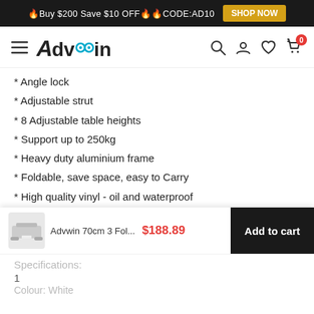🔥Buy $200 Save $10 OFF🔥🔥CODE:AD10  SHOP NOW
[Figure (logo): Advwin brand logo with hamburger menu and navigation icons (search, account, wishlist, cart with 0 badge)]
* Angle lock
* Adjustable strut
* 8 Adjustable table heights
* Support up to 250kg
* Heavy duty aluminium frame
* Foldable, save space, easy to Carry
* High quality vinyl - oil and waterproof
* 215cm Full length for maximum comfort
* Removable headrest adjustable for overall/leg length...
Advwin 70cm 3 Fol...  $188.89  Add to cart
Specifications:
1
Colour: White